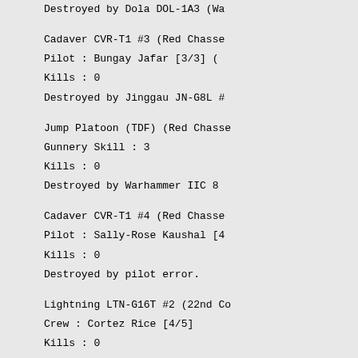Destroyed by Dola DOL-1A3 (Wa...
Cadaver CVR-T1 #3 (Red Chasse...
Pilot : Bungay Jafar [3/3] ( ...
Kills : 0
Destroyed by Jinggau JN-G8L #...
Jump Platoon (TDF) (Red Chasse...
Gunnery Skill : 3
Kills : 0
Destroyed by Warhammer IIC 8 ...
Cadaver CVR-T1 #4 (Red Chasse...
Pilot : Sally-Rose Kaushal [4...
Kills : 0
Destroyed by pilot error.
Lightning LTN-G16T #2 (22nd Co...
Crew : Cortez Rice [4/5]
Kills : 0
Destroyed by Griffin GRF-6S #...
Griffin GRF-4N (Red Chasseurs...